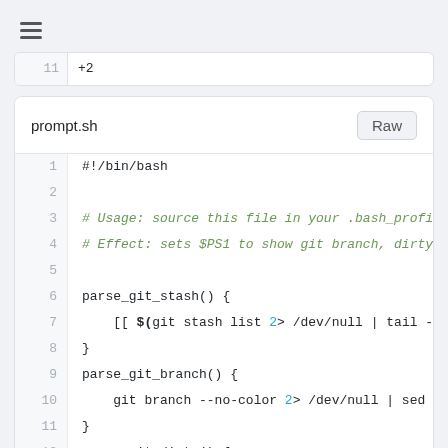[Figure (screenshot): Hamburger menu icon (three horizontal lines) in the page header bar]
11   +2
prompt.sh
Raw
1  #!/bin/bash
2
3  # Usage: source this file in your .bash_profi
4  # Effect: sets $PS1 to show git branch, dirty
5
6  parse_git_stash() {
7      [[ $(git stash list 2> /dev/null | tail -n1
8  }
9  parse_git_branch() {
10     git branch --no-color 2> /dev/null | sed -e
11 }
12 parse_git_dirty() {
13     [[ $(git status 2> /dev/null | tail -n1) ==
14 }
15
16 # To insert the git smarts into your own PS1,
17 # $(git branch &>/dev/null;if [ $? -eq 0 ]; t
18 # Otherwise...